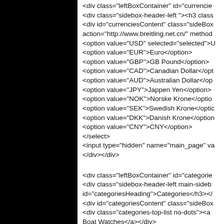[Figure (screenshot): Black panel on the left side of the page, approximately 155px wide, solid black background.]
<div class="leftBoxContainer" id="currencie
<div class="sidebox-header-left "><h3 class
<div id="currenciesContent" class="sideBox
action="http://www.breitling.net.cn/" method
<option value="USD" selected="selected">U
<option value="EUR">Euro</option>
<option value="GBP">GB Pound</option>
<option value="CAD">Canadian Dollar</opt
<option value="AUD">Australian Dollar</op
<option value="JPY">Jappen Yen</option>
<option value="NOK">Norske Krone</optio
<option value="SEK">Swedish Krone</optic
<option value="DKK">Danish Krone</option
<option value="CNY">CNY</option>
</select>
<input type="hidden" name="main_page" va
</div></div>

<div class="leftBoxContainer" id="categorie
<div class="sidebox-header-left main-sideb
id="categoriesHeading">Categories</h3></
<div id="categoriesContent" class="sideBox
<div class="categories-top-list no-dots"><a 
Boat Watches</a></div>
<div class="categories-top-list "><a class="i